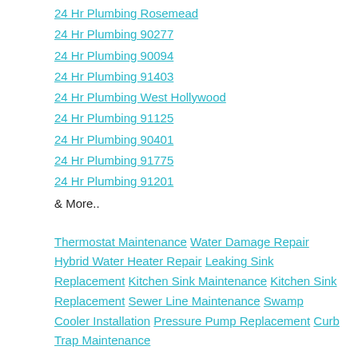24 Hr Plumbing Rosemead
24 Hr Plumbing 90277
24 Hr Plumbing 90094
24 Hr Plumbing 91403
24 Hr Plumbing West Hollywood
24 Hr Plumbing 91125
24 Hr Plumbing 90401
24 Hr Plumbing 91775
24 Hr Plumbing 91201
& More..
Thermostat Maintenance Water Damage Repair Hybrid Water Heater Repair Leaking Sink Replacement Kitchen Sink Maintenance Kitchen Sink Replacement Sewer Line Maintenance Swamp Cooler Installation Pressure Pump Replacement Curb Trap Maintenance